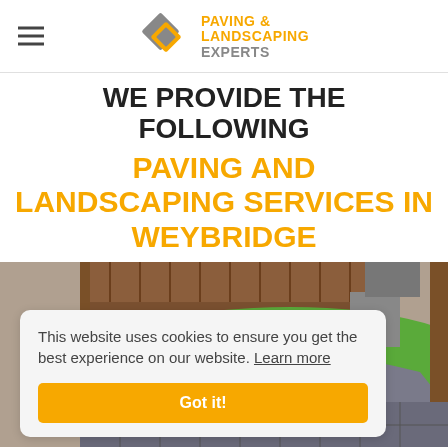PAVING & LANDSCAPING EXPERTS
WE PROVIDE THE FOLLOWING
PAVING AND LANDSCAPING SERVICES IN WEYBRIDGE
[Figure (photo): Backyard patio and lawn landscaping with block paving, green artificial grass, and wooden fence]
This website uses cookies to ensure you get the best experience on our website. Learn more
Got it!